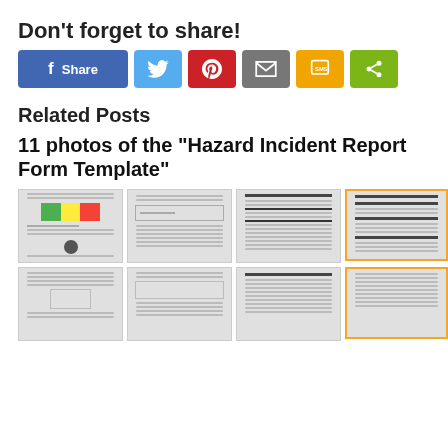Don't forget to share!
[Figure (other): Social share buttons: Facebook Share, Twitter, Pinterest, Email, SMS, Share]
Related Posts
11 photos of the "Hazard Incident Report Form Template"
[Figure (other): Grid of thumbnail previews of Hazard Incident Report Form Template documents, showing 8 thumbnails in two rows of 4]